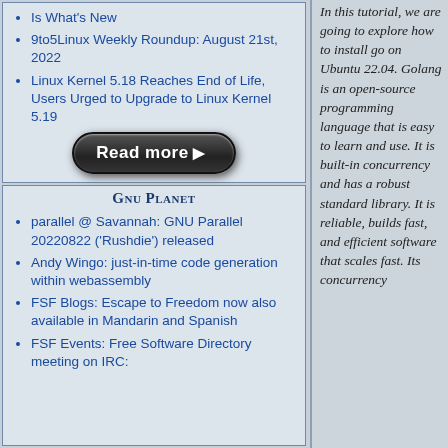9to5Linux Weekly Roundup: August 21st, 2022
Linux Kernel 5.18 Reaches End of Life, Users Urged to Upgrade to Linux Kernel 5.19
[Figure (other): Read more button - black rounded rectangle button with white bold text 'Read more' and a play arrow icon]
GNU PLANET
parallel @ Savannah: GNU Parallel 20220822 ('Rushdie') released
Andy Wingo: just-in-time code generation within webassembly
FSF Blogs: Escape to Freedom now also available in Mandarin and Spanish
FSF Events: Free Software Directory meeting on IRC:
In this tutorial, we are going to explore how to install go on Ubuntu 22.04. Golang is an open-source programming language that is easy to learn and use. It is built-in concurrency and has a robust standard library. It is reliable, builds fast, and efficient software that scales fast. Its concurrency